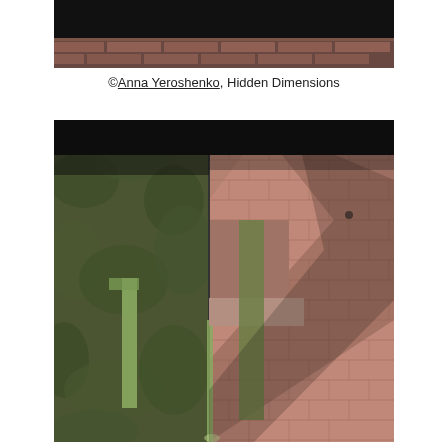[Figure (photo): Top portion of a brick wall art installation with dark background, partially visible]
©Anna Yeroshenko, Hidden Dimensions
[Figure (photo): Architectural art installation showing brick walls covered with moss/ivy in a corner composition, with geometric cutouts revealing light passages, dark background. The walls form a maze-like structure with dramatic shadows and lighting.]